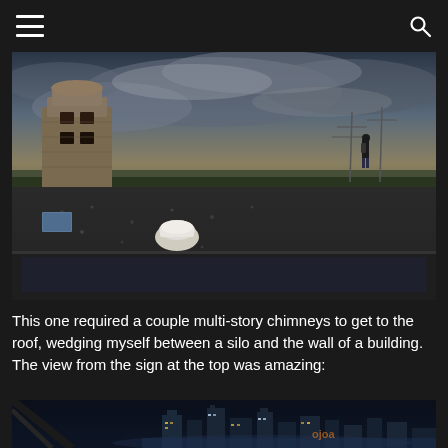Navigation header with hamburger menu and search icon
[Figure (photo): Rooftop view of an urban area with a stone chimney/tower structure on the left, gravel rooftop in the foreground with a white vent, and a person standing on the roof looking out over a wide landscape with trees and power lines under a dramatic cloudy sky]
This one required a couple multi-story chimneys to get to the roof, wedging myself between a silo and the wall of a building. The view from the sign at the top was amazing:
[Figure (photo): Night cityscape viewed from an elevated sign structure, showing a city skyline with illuminated skyscrapers and a watermark logo visible]